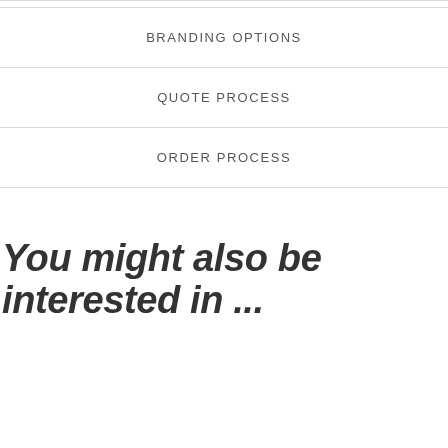| BRANDING OPTIONS |
| QUOTE PROCESS |
| ORDER PROCESS |
You might also be interested in ...